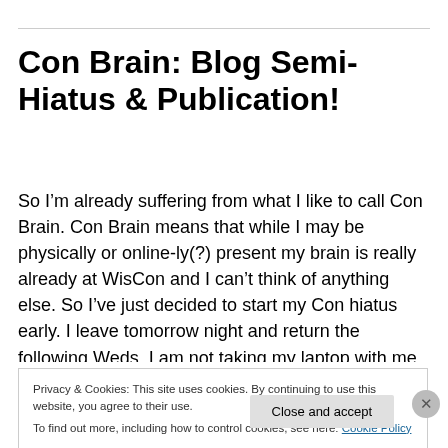Con Brain: Blog Semi-Hiatus & Publication!
So I’m already suffering from what I like to call Con Brain. Con Brain means that while I may be physically or online-ly(?) present my brain is really already at WisCon and I can’t think of anything else.  So I’ve just decided to start my Con hiatus early. I leave tomorrow night and return the following Weds. I am not taking my laptop with me so I’ll
Privacy & Cookies: This site uses cookies. By continuing to use this website, you agree to their use.
To find out more, including how to control cookies, see here: Cookie Policy
Close and accept